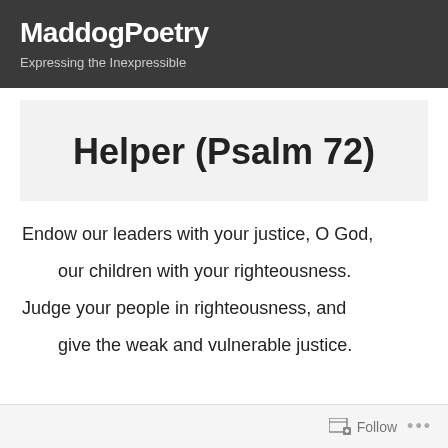MaddogPoetry
Expressing the Inexpressible
Helper (Psalm 72)
Endow our leaders with your justice, O God,
   our children with your righteousness.
Judge your people in righteousness, and
   give the weak and vulnerable justice.
Follow